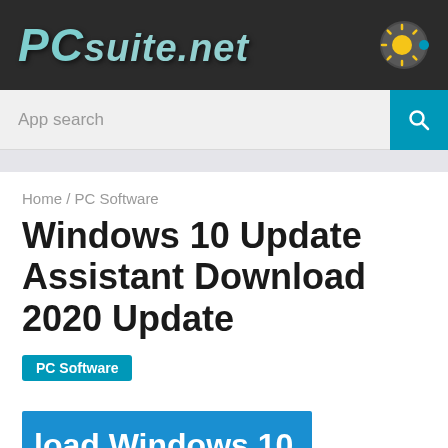PCSuite.NET
App search
Home / PC Software
Windows 10 Update Assistant Download 2020 Update
PC Software
[Figure (screenshot): Partial featured image with blue background showing text 'load Windows 10']